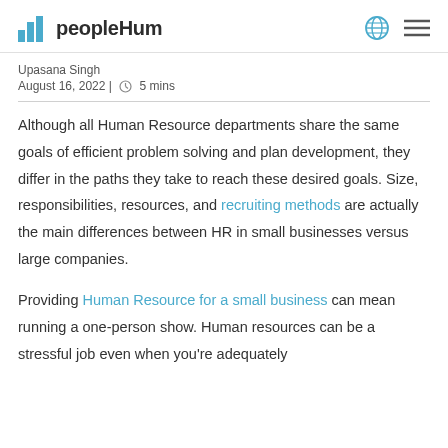peopleHum
Upasana Singh
August 16, 2022 | 5 mins
Although all Human Resource departments share the same goals of efficient problem solving and plan development, they differ in the paths they take to reach these desired goals. Size, responsibilities, resources, and recruiting methods are actually the main differences between HR in small businesses versus large companies.
Providing Human Resource for a small business can mean running a one-person show. Human resources can be a stressful job even when you're adequately